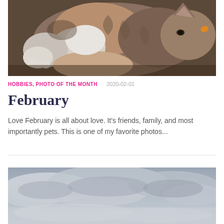[Figure (photo): Close-up photo of a fluffy tabby/maine coon cat lying on its back showing its paws and belly, with a person's arm visible beneath it. The cat has orange/brown fur with stripes and white chest area.]
HOBBIES, PHOTO OF THE MONTH     2020-02-01
February
Love February is all about love. It's friends, family, and most importantly pets. This is one of my favorite photos...
[Figure (photo): Partial view of a cloudy sky with grey and white clouds, landscape orientation, bottom of the image cut off.]